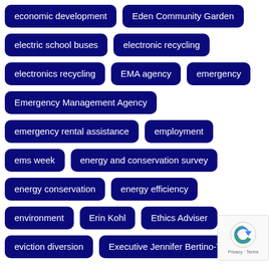economic development
Eden Community Garden
electric school buses
electronic recycling
electronics recycling
EMA agency
emergency
Emergency Management Agency
emergency rental assistance
employment
ems week
energy and conservation survey
energy conservation
energy efficiency
environment
Erin Kohl
Ethics Adviser
eviction diversion
Executive Jennifer Bertino-Tarra